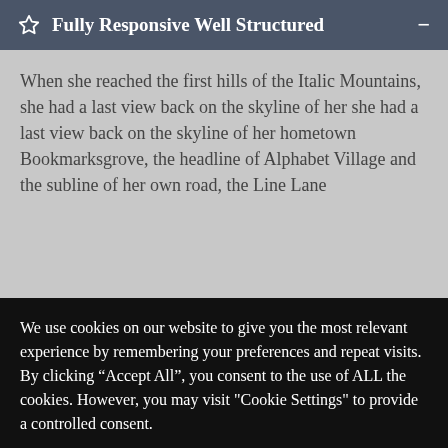Fully Responsive Well Structured
When she reached the first hills of the Italic Mountains, she had a last view back on the skyline of her she had a last view back on the skyline of her hometown Bookmarksgrove, the headline of Alphabet Village and the subline of her own road, the Line Lane
We use cookies on our website to give you the most relevant experience by remembering your preferences and repeat visits. By clicking “Accept All”, you consent to the use of ALL the cookies. However, you may visit "Cookie Settings" to provide a controlled consent.
Cookie Settings
Accept All